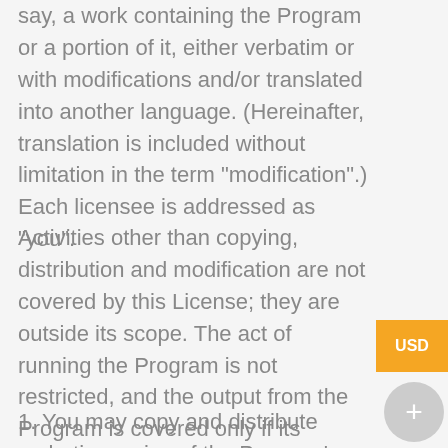say, a work containing the Program or a portion of it, either verbatim or with modifications and/or translated into another language. (Hereinafter, translation is included without limitation in the term "modification".) Each licensee is addressed as "you".
Activities other than copying, distribution and modification are not covered by this License; they are outside its scope. The act of running the Program is not restricted, and the output from the Program is covered only if its contents constitute a work based on the Program (independent of having been made by running the Program). Whether that is true depends on what the Program does.
1. You may copy and distribute verbatim copies of the Program's source code as you receive it